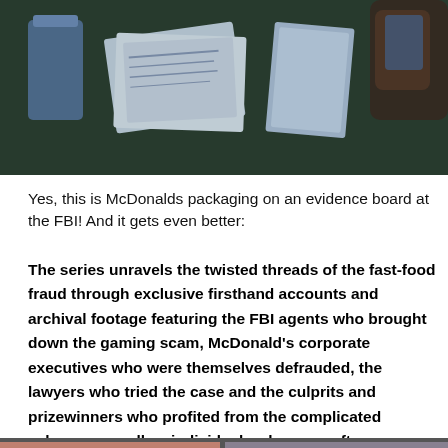[Figure (photo): Photo of McDonald's packaging items spread out on a dark surface at an FBI evidence board, viewed from above. Various cups, bags and brochures visible. A hand is visible on the right side.]
Yes, this is McDonalds packaging on an evidence board at the FBI! And it gets even better:
The series unravels the twisted threads of the fast-food fraud through exclusive firsthand accounts and archival footage featuring the FBI agents who brought down the gaming scam, McDonald's corporate executives who were themselves defrauded, the lawyers who tried the case and the culprits and prizewinners who profited from the complicated scheme, as well as individuals who were often unwittingly duped into being a part of the ruse.
[Figure (photo): Partial view of images at the bottom of the page, cropped.]